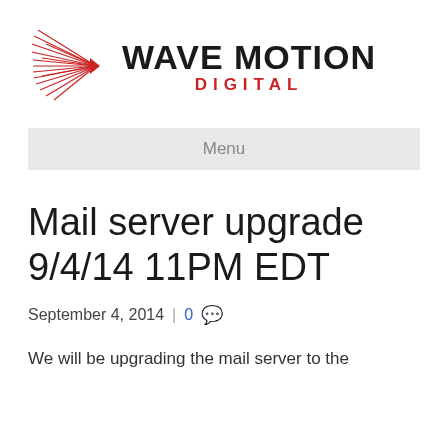[Figure (logo): Wave Motion Digital logo with red starburst/rays graphic on left and bold black WAVE MOTION text with red DIGITAL text below]
Menu
Mail server upgrade 9/4/14 11PM EDT
September 4, 2014 | 0
We will be upgrading the mail server to the